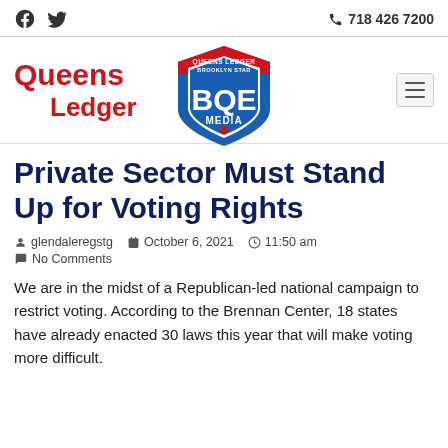Queens Ledger / BQE Media — 718 426 7200
Private Sector Must Stand Up for Voting Rights
glendaleregstg  October 6, 2021  11:50 am  No Comments
We are in the midst of a Republican-led national campaign to restrict voting. According to the Brennan Center, 18 states have already enacted 30 laws this year that will make voting more difficult.